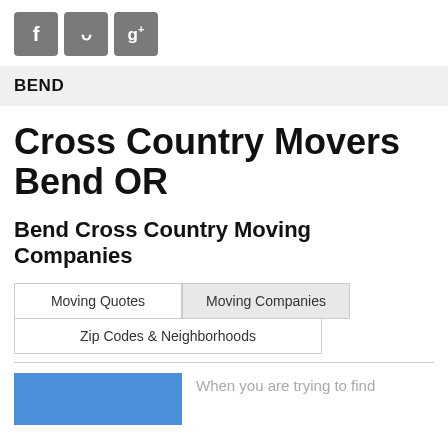[Figure (other): Social media icon buttons for Facebook, Twitter, and Google+]
BEND
Cross Country Movers Bend OR
Bend Cross Country Moving Companies
Moving Quotes | Moving Companies | Zip Codes & Neighborhoods
[Figure (photo): Blue image partial view at bottom left]
When you are trying to find